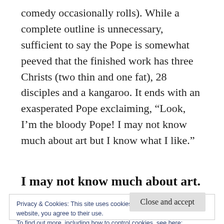comedy occasionally rolls). While a complete outline is unnecessary, sufficient to say the Pope is somewhat peeved that the finished work has three Christs (two thin and one fat), 28 disciples and a kangaroo. It ends with an exasperated Pope exclaiming, “Look, I’m the bloody Pope! I may not know much about art but I know what I like.”
I may not know much about art. But I know what I like.
Privacy & Cookies: This site uses cookies. By continuing to use this website, you agree to their use.
To find out more, including how to control cookies, see here: Cookie Policy